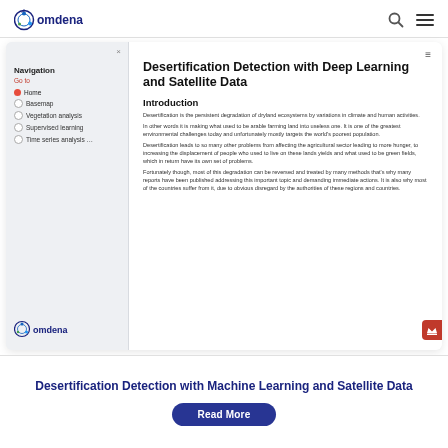[Figure (screenshot): Omdena website header with logo, search icon, and hamburger menu]
[Figure (screenshot): Omdena web application screenshot showing left navigation panel with Home, Basemap, Vegetation analysis, Supervised learning, Time series analysis items, and right content area with article about Desertification Detection with Deep Learning and Satellite Data]
Desertification Detection with Machine Learning and Satellite Data
Read More